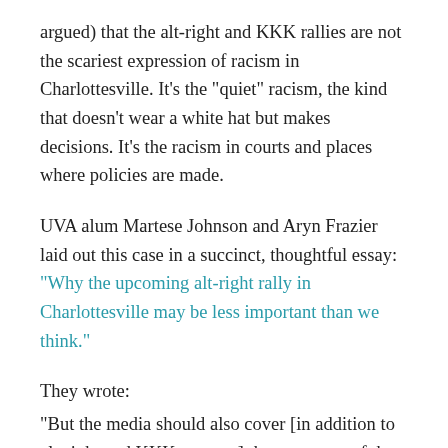argued) that the alt-right and KKK rallies are not the scariest expression of racism in Charlottesville. It’s the “quiet” racism, the kind that doesn’t wear a white hat but makes decisions. It’s the racism in courts and places where policies are made.
UVA alum Martese Johnson and Aryn Frazier laid out this case in a succinct, thoughtful essay: “Why the upcoming alt-right rally in Charlottesville may be less important than we think.”
They wrote:
“But the media should also cover [in addition to alt-right and KKK protests] the outcomes of the myriad town halls called to garner solutions to issues of racial injustice that either followed or preceded this most recent display of bigotry. Inform viewers of whether their elected and